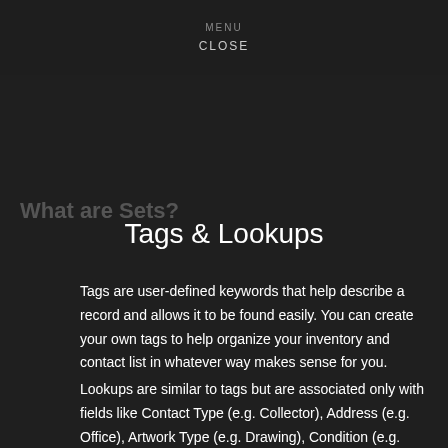MENU
CLOSE
Tags & Lookups
Tags are user-defined keywords that help describe a record and allows it to be found easily. You can create your own tags to help organize your inventory and contact list in whatever way makes sense for you.
Lookups are similar to tags but are associated only with fields like Contact Type (e.g. Collector), Address (e.g. Office), Artwork Type (e.g. Drawing), Condition (e.g. Excellent),  Medium (e.g. oil on canvas) File Type (e.g. Insurance Document), etc. They're selected from dropdown menus to help standardize your lookups